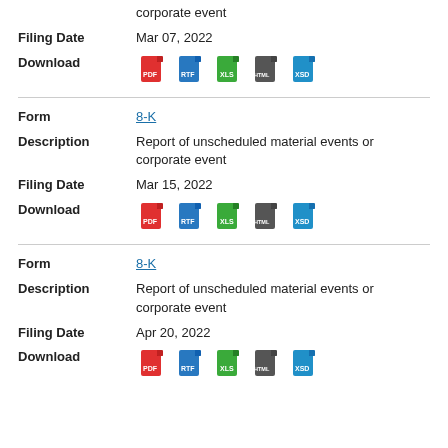corporate event
Filing Date   Mar 07, 2022
Download   PDF RTF XLS HTML XSD
Form   8-K
Description   Report of unscheduled material events or corporate event
Filing Date   Mar 15, 2022
Download   PDF RTF XLS HTML XSD
Form   8-K
Description   Report of unscheduled material events or corporate event
Filing Date   Apr 20, 2022
Download   PDF RTF XLS HTML XSD